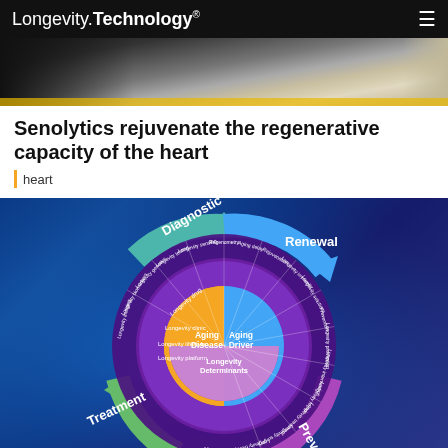Longevity.Technology®
[Figure (photo): Partial photo of a conference or exhibition space, showing a table/display surface with fabric/draping visible at the bottom left and a round object at top center.]
Senolytics rejuvenate the regenerative capacity of the heart
heart
[Figure (infographic): Circular wheel diagram showing the Longevity Technology framework. The center has three sections: Aging Disease (orange), Aging Driver (blue), and Longevity Determinants (purple/pink). Surrounding rings show various longevity categories including Longevity drugs, Longevity clinics, Longevity lifestyle, Longevity platforms. Four outer arrows label quadrants: Diagnostic (top-left, teal), Renewal (top-right, blue), Prevention (bottom-right, purple), Treatment (bottom-left, green).]